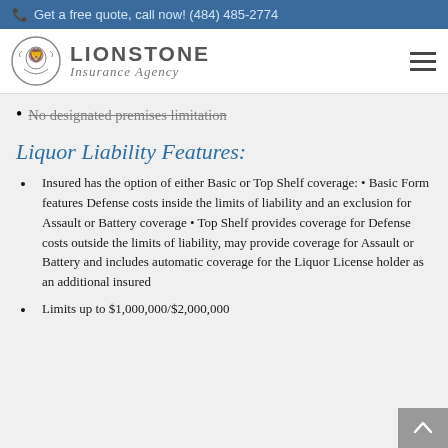Get a free quote, call now! (484) 485-2774
[Figure (logo): Lionstone Insurance Agency logo with lion illustration]
No designated premises limitation
Liquor Liability Features:
Insured has the option of either Basic or Top Shelf coverage: • Basic Form features Defense costs inside the limits of liability and an exclusion for Assault or Battery coverage • Top Shelf provides coverage for Defense costs outside the limits of liability, may provide coverage for Assault or Battery and includes automatic coverage for the Liquor License holder as an additional insured
Limits up to $1,000,000/$2,000,000